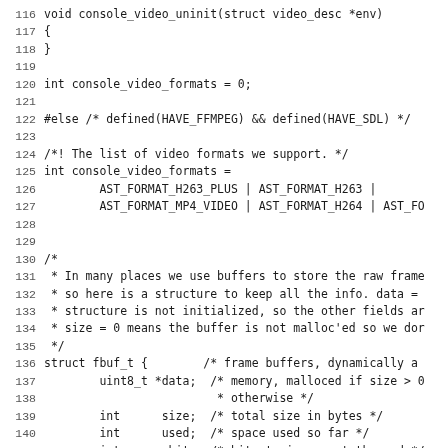Source code listing lines 116-147 showing C code for console video functions and struct fbuf_t definition